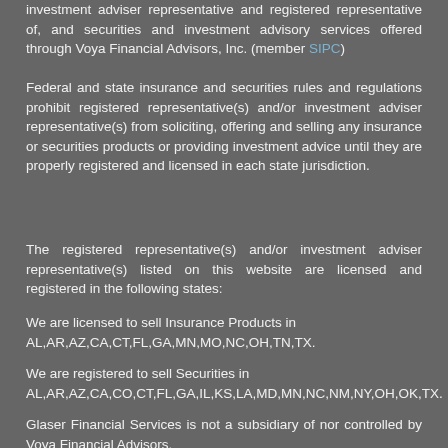investment adviser representative and registered representative of, and securities and investment advisory services offered through Voya Financial Advisors, Inc. (member SIPC)
Federal and state insurance and securities rules and regulations prohibit registered representative(s) and/or investment adviser representative(s) from soliciting, offering and selling any insurance or securities products or providing investment advice until they are properly registered and licensed in each state jurisdiction.
The registered representative(s) and/or investment adviser representative(s) listed on this website are licensed and registered in the following states:
We are licensed to sell Insurance Products in AL,AR,AZ,CA,CT,FL,GA,MN,MO,NC,OH,TN,TX.
We are registered to sell Securities in AL,AR,AZ,CA,CO,CT,FL,GA,IL,KS,LA,MD,MN,NC,NM,NY,OH,OK,TX.
Glaser Financial Services is not a subsidiary of nor controlled by Voya Financial Advisors.